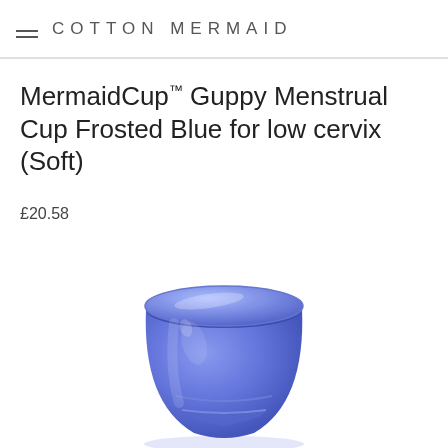COTTON MERMAID
MermaidCup™ Guppy Menstrual Cup Frosted Blue for low cervix (Soft)
£20.58
[Figure (photo): A frosted blue silicone menstrual cup photographed on a white background, showing the cup body with a ridged grip ring near the base and a wide open top rim.]